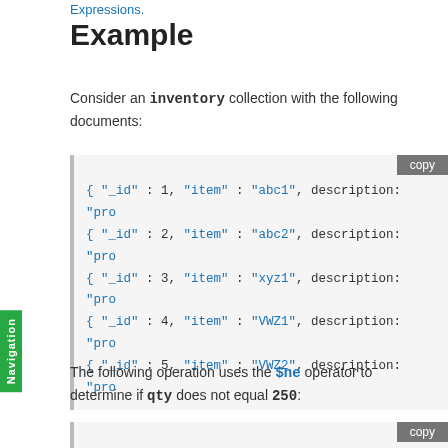Expressions.
Example
Consider an inventory collection with the following documents:
[Figure (screenshot): Code block showing 5 MongoDB documents with _id, item, and description fields. Lines: { "_id" : 1, "item" : "abc1", description: "pro  { "_id" : 2, "item" : "abc2", description: "pro  { "_id" : 3, "item" : "xyz1", description: "pro  { "_id" : 4, "item" : "VWZ1", description: "pro  { "_id" : 5, "item" : "VWZ2", description: "pro]
The following operation uses the $ne operator to determine if qty does not equal 250:
[Figure (screenshot): Code block (beginning visible) with copy button]